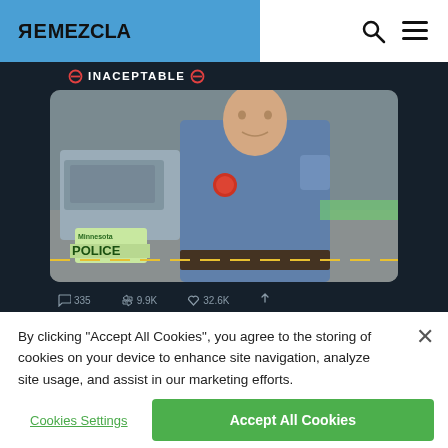RIEMEZCLA
[Figure (screenshot): Screenshot of a tweet showing a police officer in uniform next to a squad car with a Minnesota license plate reading POLICE. The tweet has a label reading INACEPTABLE with prohibition symbols. Tweet stats show 335 replies, 9.9K retweets, 32.6K likes.]
By clicking “Accept All Cookies”, you agree to the storing of cookies on your device to enhance site navigation, analyze site usage, and assist in our marketing efforts.
Cookies Settings
Accept All Cookies